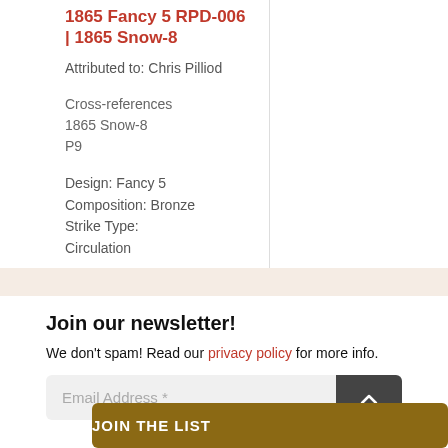1865 Fancy 5 RPD-006 | 1865 Snow-8
Attributed to: Chris Pilliod
Cross-references
1865 Snow-8
P9
Design: Fancy 5
Composition: Bronze
Strike Type:
Circulation
Join our newsletter!
We don't spam! Read our privacy policy for more info.
Email Address *
JOIN THE LIST